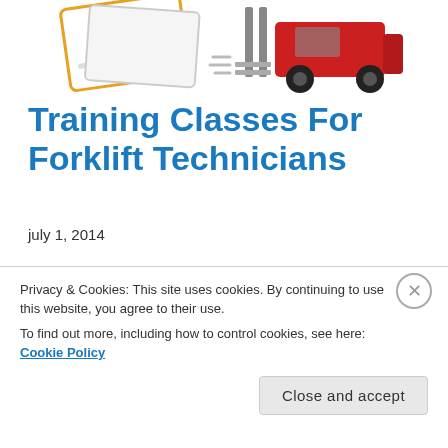[Figure (illustration): Illustration showing a forklift certification card and a red forklift vehicle at the top of the page]
Training Classes For Forklift Technicians
july 1, 2014
Want your employees to learn more about how Electric Vehicle systems work? Or obtain a better understanding of AC Transistorized controls? Just sign them up for one or both of our annual service school classes! "What will
Privacy & Cookies: This site uses cookies. By continuing to use this website, you agree to their use.
To find out more, including how to control cookies, see here: Cookie Policy
Close and accept